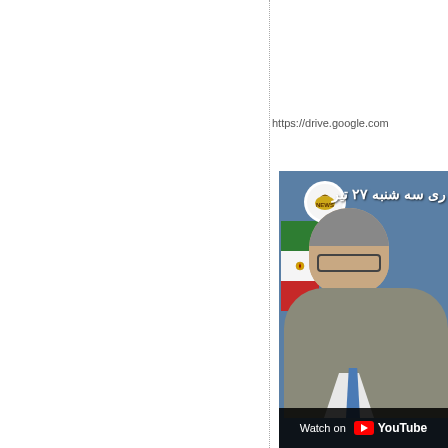https://drive.google.com
[Figure (screenshot): YouTube video thumbnail showing a man in a grey suit with a blue tie, seated in front of an Iranian flag and blue background. Persian text overlay reads 'ری سه شنبه ۲۷ تیر' with a logo circle. Bottom bar reads 'Watch on YouTube'.]